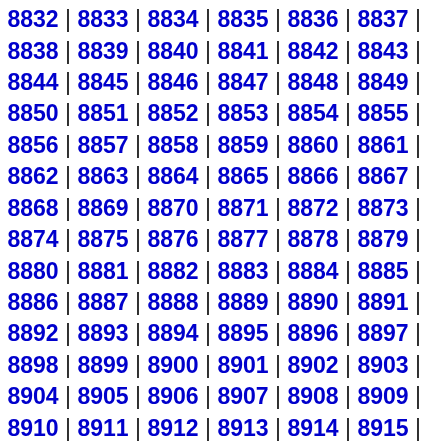8832 | 8833 | 8834 | 8835 | 8836 | 8837 |
8838 | 8839 | 8840 | 8841 | 8842 | 8843 |
8844 | 8845 | 8846 | 8847 | 8848 | 8849 |
8850 | 8851 | 8852 | 8853 | 8854 | 8855 |
8856 | 8857 | 8858 | 8859 | 8860 | 8861 |
8862 | 8863 | 8864 | 8865 | 8866 | 8867 |
8868 | 8869 | 8870 | 8871 | 8872 | 8873 |
8874 | 8875 | 8876 | 8877 | 8878 | 8879 |
8880 | 8881 | 8882 | 8883 | 8884 | 8885 |
8886 | 8887 | 8888 | 8889 | 8890 | 8891 |
8892 | 8893 | 8894 | 8895 | 8896 | 8897 |
8898 | 8899 | 8900 | 8901 | 8902 | 8903 |
8904 | 8905 | 8906 | 8907 | 8908 | 8909 |
8910 | 8911 | 8912 | 8913 | 8914 | 8915 |